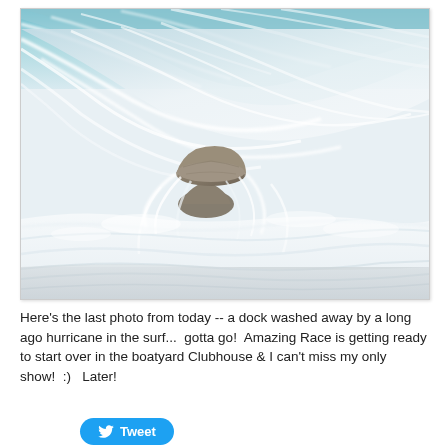[Figure (photo): A long-exposure photograph of ocean waves crashing over and around rocks on a beach. The motion blur gives the white water a silky, flowing appearance. A flat rock sits atop another rock formation in the center, surrounded by rushing white surf. The background shows the curl of a large wave with turquoise water visible at the top.]
Here's the last photo from today -- a dock washed away by a long ago hurricane in the surf...  gotta go!  Amazing Race is getting ready to start over in the boatyard Clubhouse & I can't miss my only show!  :)  Later!